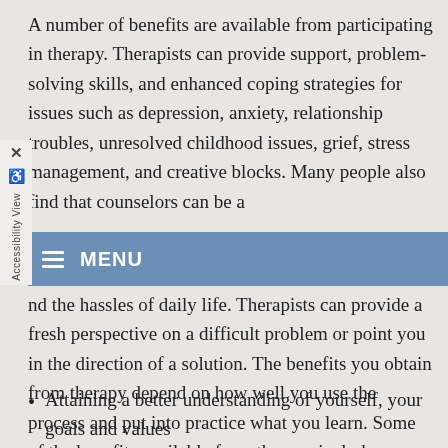A number of benefits are available from participating in therapy. Therapists can provide support, problem-solving skills, and enhanced coping strategies for issues such as depression, anxiety, relationship troubles, unresolved childhood issues, grief, stress management, and creative blocks. Many people also find that counselors can be a
[Figure (screenshot): Blue menu bar with hamburger icon and MENU text, overlaid on page content]
nd the hassles of daily life. Therapists can provide a fresh perspective on a difficult problem or point you in the direction of a solution. The benefits you obtain from therapy depend on how well you use the process and put into practice what you learn. Some of the benefits available from therapy include:
Attaining a better understanding of yourself, your goals and values